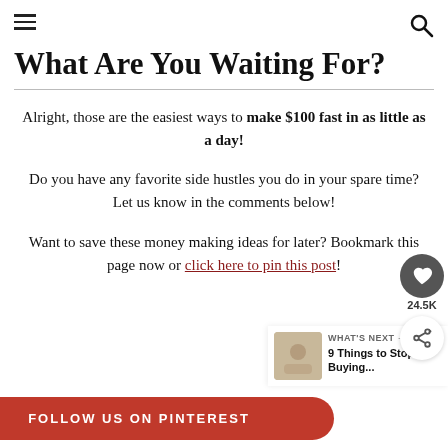What Are You Waiting For?
What Are You Waiting For?
Alright, those are the easiest ways to make $100 fast in as little as a day!
Do you have any favorite side hustles you do in your spare time? Let us know in the comments below!
Want to save these money making ideas for later? Bookmark this page now or click here to pin this post!
FOLLOW US ON PINTEREST